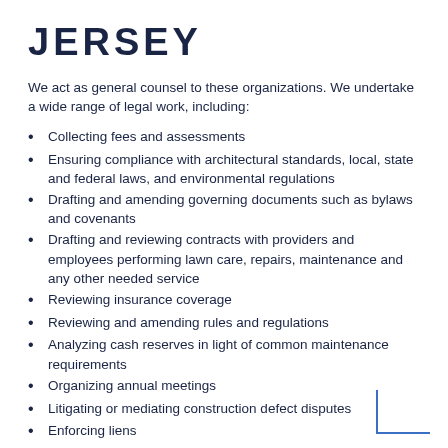JERSEY
We act as general counsel to these organizations. We undertake a wide range of legal work, including:
Collecting fees and assessments
Ensuring compliance with architectural standards, local, state and federal laws, and environmental regulations
Drafting and amending governing documents such as bylaws and covenants
Drafting and reviewing contracts with providers and employees performing lawn care, repairs, maintenance and any other needed service
Reviewing insurance coverage
Reviewing and amending rules and regulations
Analyzing cash reserves in light of common maintenance requirements
Organizing annual meetings
Litigating or mediating construction defect disputes
Enforcing liens